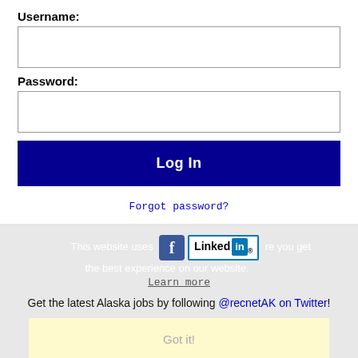Username:
Password:
Log In
Forgot password?
This website uses cookies to ensure you get the best experience on our website.
Learn more
Get the latest Alaska jobs by following @recnetAK on Twitter!
Got it!
Anchorage RSS job feeds